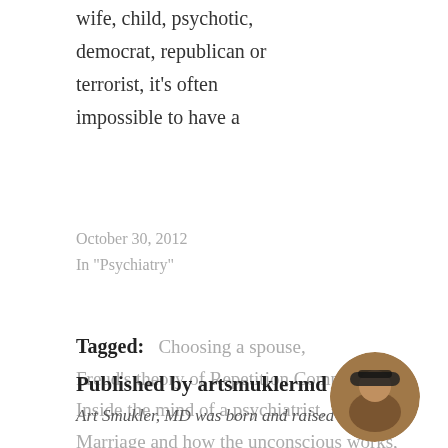wife, child, psychotic, democrat, republican or terrorist, it's often impossible to have a
October 30, 2012
In "Psychiatry"
Tagged:   Choosing a spouse, Freud's theory of Repetition Compulsion, Inside the mind of a psychiatrist, Marriage and how the unconscious works, Marriage-logical or illogical
Published by artsmuklermd
Art Smukler, MD was born and raised in
[Figure (photo): Circular avatar photo of a man wearing a cap, outdoors with a landscape background]